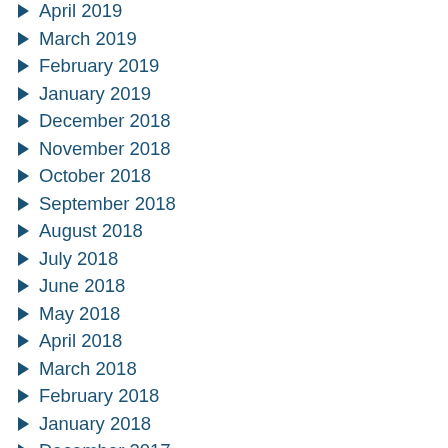April 2019
March 2019
February 2019
January 2019
December 2018
November 2018
October 2018
September 2018
August 2018
July 2018
June 2018
May 2018
April 2018
March 2018
February 2018
January 2018
December 2017
November 2017